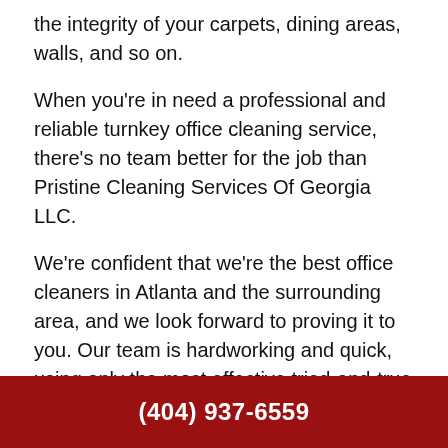the integrity of your carpets, dining areas, walls, and so on.
When you're in need a professional and reliable turnkey office cleaning service, there's no team better for the job than Pristine Cleaning Services Of Georgia LLC.
We're confident that we're the best office cleaners in Atlanta and the surrounding area, and we look forward to proving it to you. Our team is hardworking and quick, using only the most effective tried-and-true cleaning methods and products to make sure your office is always sparkling clean by the end of the day.
Ready for a clean you can count on? Contact us now at (404) 937-6559 to receive an honest quote!
(404) 937-6559